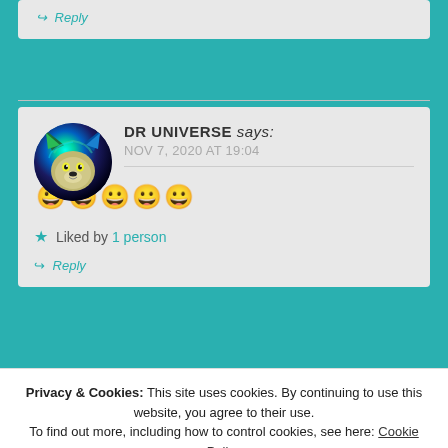↪ Reply
DR UNIVERSE says: NOV 7, 2020 AT 19:04
[Figure (photo): Circular avatar showing a colorful wolf with teal, blue, green and yellow tones]
😀😀😀😀😀
★ Liked by 1 person
↪ Reply
Privacy & Cookies: This site uses cookies. By continuing to use this website, you agree to their use. To find out more, including how to control cookies, see here: Cookie Policy
Close and accept